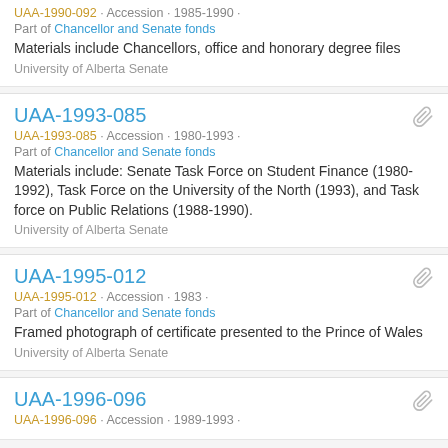UAA-1990-092 · Accession · 1985-1990 · Part of Chancellor and Senate fonds. Materials include Chancellors, office and honorary degree files. University of Alberta Senate
UAA-1993-085 · Accession · 1980-1993 · Part of Chancellor and Senate fonds. Materials include: Senate Task Force on Student Finance (1980-1992), Task Force on the University of the North (1993), and Task force on Public Relations (1988-1990). University of Alberta Senate
UAA-1995-012 · Accession · 1983 · Part of Chancellor and Senate fonds. Framed photograph of certificate presented to the Prince of Wales. University of Alberta Senate
UAA-1996-096 · Accession · 1989-1993 ·